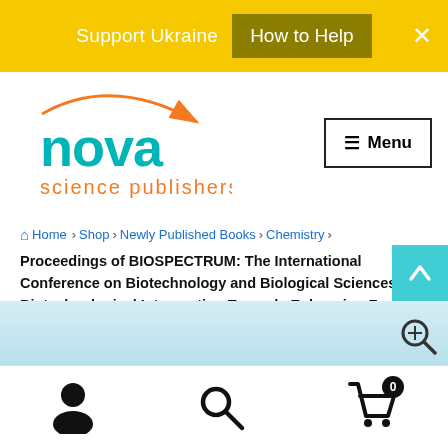Support Ukraine  How to Help  ×
[Figure (logo): Nova Science Publishers logo with orange arrow and teal text]
≡ Menu
Home › Shop › Newly Published Books › Chemistry › Proceedings of BIOSPECTRUM: The International Conference on Biotechnology and Biological Sciences: Biotechnological Intervention Towards Enhancing Food Value